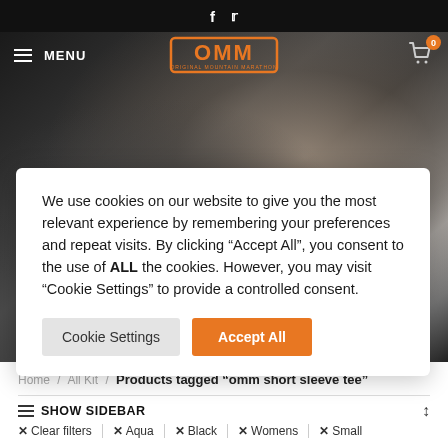f  𝐓 (Facebook and Twitter social icons)
[Figure (screenshot): OMM website header with navigation bar showing hamburger menu, MENU text, OMM (Original Mountain Marathon) orange logo in center, shopping cart icon with badge showing 0, and a hero image of a man running in mountain terrain]
We use cookies on our website to give you the most relevant experience by remembering your preferences and repeat visits. By clicking “Accept All”, you consent to the use of ALL the cookies. However, you may visit “Cookie Settings” to provide a controlled consent.
Cookie Settings   Accept All
Home / All Kit / Products tagged “omm short sleeve tee”
≡ SHOW SIDEBAR
✕ Clear filters   ✕ Aqua   ✕ Black   ✕ Womens   ✕ Small